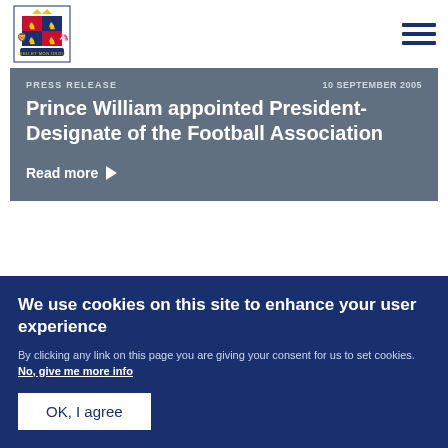Royal Coat of Arms logo and navigation menu icon
PRESS RELEASE  10 SEPTEMBER 2005
Prince William appointed President-Designate of the Football Association
Read more
PRESS RELEASE  23 JUNE 2005
We use cookies on this site to enhance your user experience
By clicking any link on this page you are giving your consent for us to set cookies. No, give me more info
OK, I agree